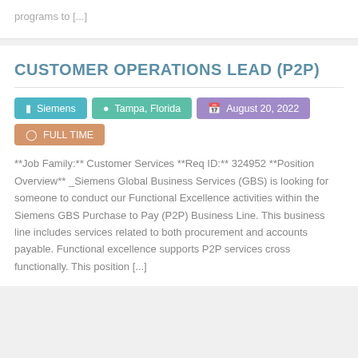programs to [...]
CUSTOMER OPERATIONS LEAD (P2P)
Siemens | Tampa, Florida | August 20, 2022 | FULL TIME
**Job Family:** Customer Services **Req ID:** 324952 **Position Overview** _Siemens Global Business Services (GBS) is looking for someone to conduct our Functional Excellence activities within the Siemens GBS Purchase to Pay (P2P) Business Line. This business line includes services related to both procurement and accounts payable. Functional excellence supports P2P services cross functionally. This position [...]